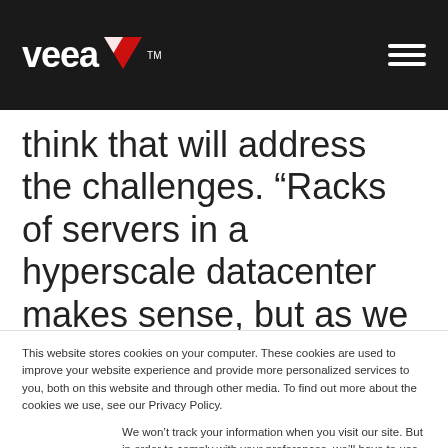[Figure (logo): Veea logo in white on dark background, with hamburger menu icon on right]
think that will address the challenges. “Racks of servers in a hyperscale datacenter makes sense, but as we move processing closer
This website stores cookies on your computer. These cookies are used to improve your website experience and provide more personalized services to you, both on this website and through other media. To find out more about the cookies we use, see our Privacy Policy.
We won’t track your information when you visit our site. But in order to comply with your preferences, we’ll have to use just one tiny cookie so that you’re not asked to make this choice again.
Accept
Decline